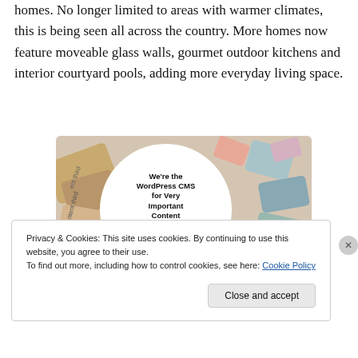homes. No longer limited to areas with warmer climates, this is being seen all across the country. More homes now feature moveable glass walls, gourmet outdoor kitchens and interior courtyard pools, adding more everyday living space.
[Figure (other): Advertisement banner for WordPress VIP CMS service, showing colorful brand logos/cards in the background and a white circle in the center with text: We're the WordPress CMS for Very Important Content, with a WP VIP logo and a Learn more button.]
Privacy & Cookies: This site uses cookies. By continuing to use this website, you agree to their use.
To find out more, including how to control cookies, see here: Cookie Policy
Close and accept